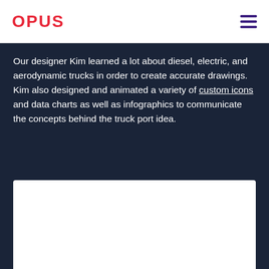OPUS
Our designer Kim learned a lot about diesel, electric, and aerodynamic trucks in order to create accurate drawings. Kim also designed and animated a variety of custom icons and data charts as well as infographics to communicate the concepts behind the truck port idea.
[Figure (illustration): White rectangular image placeholder at bottom of dark section]